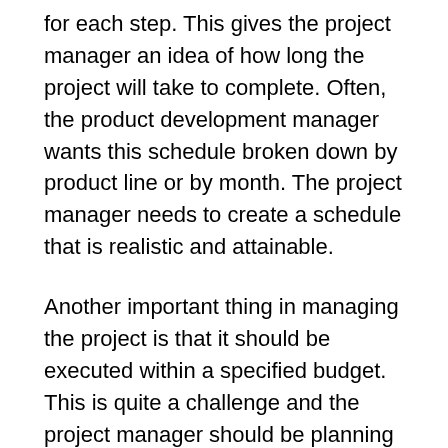for each step. This gives the project manager an idea of how long the project will take to complete. Often, the product development manager wants this schedule broken down by product line or by month. The project manager needs to create a schedule that is realistic and attainable.
Another important thing in managing the project is that it should be executed within a specified budget. This is quite a challenge and the project manager should be planning the budget from the beginning of the project. It should be kept track of the budget as the project moves on and the project manager should be careful in spending the budget in a proper manner.